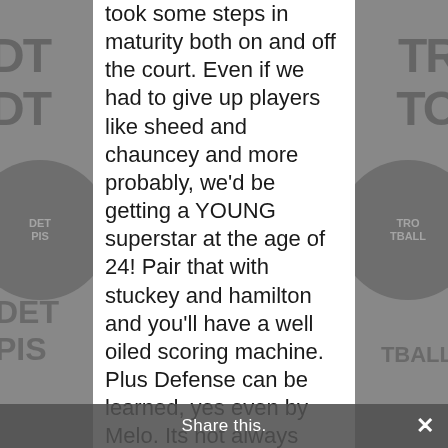took some steps in maturity both on and off the court. Even if we had to give up players like sheed and chauncey and more probably, we'd be getting a YOUNG superstar at the age of 24! Pair that with stuckey and hamilton and you'll have a well oiled scoring machine. Plus Defense can be learned, yes even by Melo. Its not always about one on one D, its about team D. Look at the pistons right now, Tayshaun couldnt stop Lebron Wade or Pierce if his life depended on it and he was supposed to be our #1 Defender. Why do you think that is? NElt is a bull...
Share this.